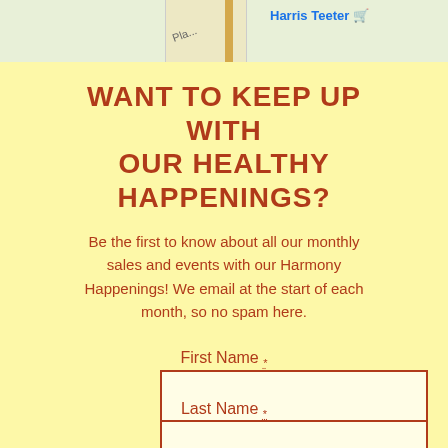[Figure (map): Partial street map showing Harris Teeter location with road intersection]
WANT TO KEEP UP WITH OUR HEALTHY HAPPENINGS?
Be the first to know about all our monthly sales and events with our Harmony Happenings! We email at the start of each month, so no spam here.
First Name *
Last Name *